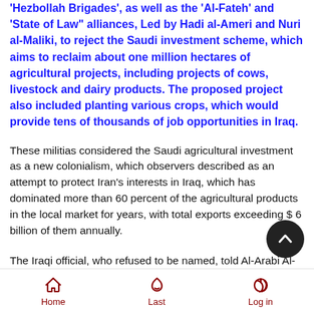'Hezbollah Brigades', as well as the 'Al-Fateh' and 'State of Law' alliances, Led by Hadi al-Ameri and Nuri al-Maliki, to reject the Saudi investment scheme, which aims to reclaim about one million hectares of agricultural projects, including projects of cows, livestock and dairy products. The proposed project also included planting various crops, which would provide tens of thousands of job opportunities in Iraq.
These militias considered the Saudi agricultural investment as a new colonialism, which observers described as an attempt to protect Iran's interests in Iraq, which has dominated more than 60 percent of the agricultural products in the local market for years, with total exports exceeding $ 6 billion of them annually.
The Iraqi official, who refused to be named, told Al-Arabi Al-Jadeed that the Saudi investment scheme has been canceled at the present time, whether in Anbar or Muthanna, indicating a number of reasons led to this, including technical ones, related to the need for a permanent water source that must be Secured
Home   Last   Log in